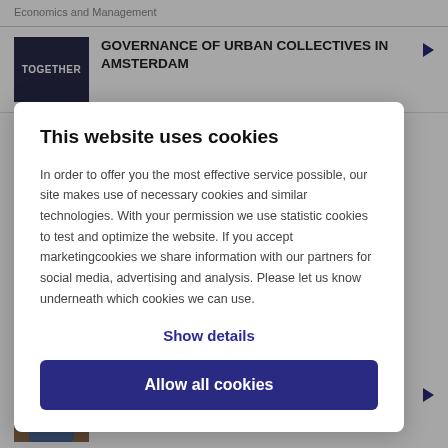Economics and Management
GOVERNANCE OF URBAN COLLECTIVES IN AMSTERDAM
This website uses cookies
In order to offer you the most effective service possible, our site makes use of necessary cookies and similar technologies. With your permission we use statistic cookies to test and optimize the website. If you accept marketingcookies we share information with our partners for social media, advertising and analysis. Please let us know underneath which cookies we can use.
Show details
Allow all cookies
TO BUILDING UP A STRONG PERSON
1 June 2019 | Centre for Applied Research